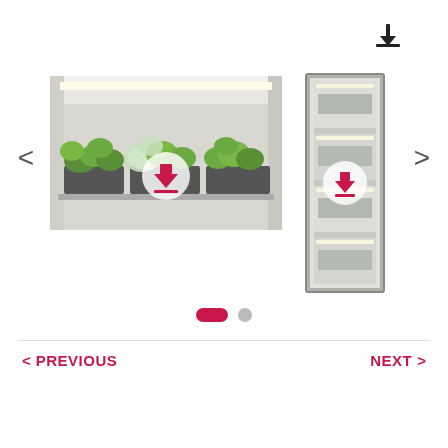[Figure (photo): Download icon at top right of page]
[Figure (photo): Photo of lettuce/leafy green plants in trays inside a growth chamber with white/LED lighting, with a download button overlay]
[Figure (photo): Photo of a vertical plant growth cabinet/tower unit, tall and narrow, with shelves inside, with a download button overlay]
[Figure (infographic): Carousel navigation dots: one active (red pill) and one inactive (gray circle)]
< PREVIOUS
NEXT >